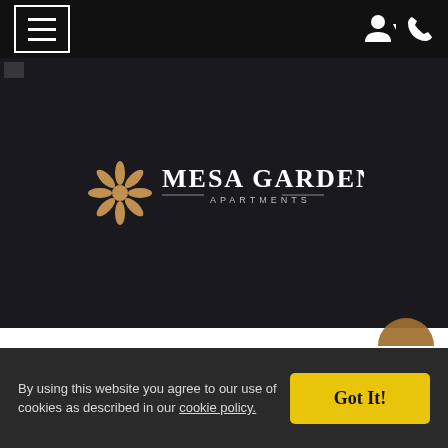Mesa Gardens Apartments – navigation bar with hamburger menu and icons
[Figure (logo): Mesa Gardens Apartments logo on dark background: starburst/flower icon in gold/brown next to text 'MESA GARDENS' in white serif caps, below it 'APARTMENTS' in small spaced caps with decorative lines]
Videos
By using this website you agree to our use of cookies as described in our cookie policy.
Got It!